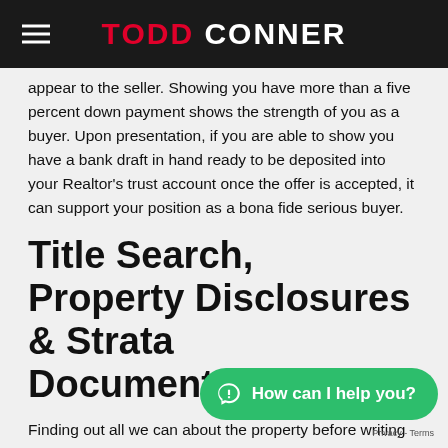TODD CONNER
appear to the seller. Showing you have more than a five percent down payment shows the strength of you as a buyer. Upon presentation, if you are able to show you have a bank draft in hand ready to be deposited into your Realtor's trust account once the offer is accepted, it can support your position as a bona fide serious buyer.
Title Search, Property Disclosures & Strata Documentation
Finding out all we can about the property before writing an offer will help you know if it is right for you. It is important to get copies of any existing [obscured] View the title search and [obscured] anything suspicious. In many cases you will be able to